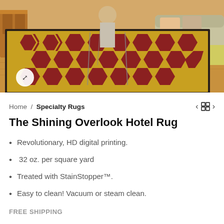[Figure (photo): Product photo of The Shining Overlook Hotel Rug in a living room setting, showing a patterned rug with yellow/gold hexagonal pattern on dark background with red/maroon accents, mid-century modern furniture around it, with an expand icon button in the lower left]
Home / Specialty Rugs
The Shining Overlook Hotel Rug
Revolutionary, HD digital printing.
32 oz. per square yard
Treated with StainStopper™.
Easy to clean! Vacuum or steam clean.
FREE SHIPPING